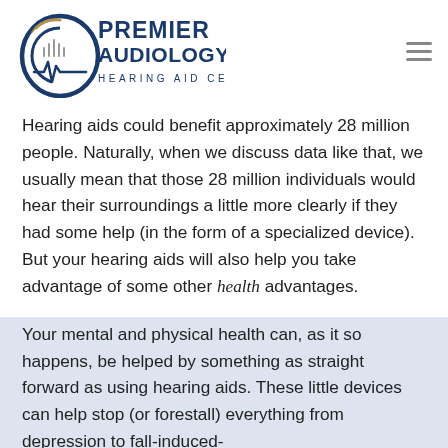[Figure (logo): Premier Audiology & Hearing Aid Center logo with ear graphic and sound wave icon]
Hearing aids could benefit approximately 28 million people. Naturally, when we discuss data like that, we usually mean that those 28 million individuals would hear their surroundings a little more clearly if they had some help (in the form of a specialized device). But your hearing aids will also help you take advantage of some other health advantages.
Your mental and physical health can, as it so happens, be helped by something as straight forward as using hearing aids. These little devices can help stop (or forestall) everything from depression to fall-induced-